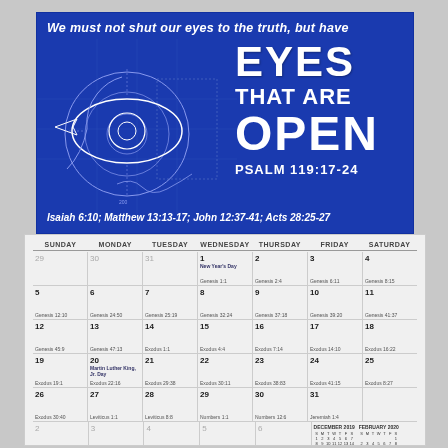[Figure (illustration): Religious calendar page with blue poster showing blueprint eye illustration on left and bold white text on right reading 'We must not shut our eyes to the truth, but have EYES THAT ARE OPEN' with reference to PSALM 119:17-24 and additional scripture references at bottom: Isaiah 6:10; Matthew 13:13-17; John 12:37-41; Acts 28:25-27]
| SUNDAY | MONDAY | TUESDAY | WEDNESDAY | THURSDAY | FRIDAY | SATURDAY |
| --- | --- | --- | --- | --- | --- | --- |
| 29 | 30 | 31 | 1
New Year's Day
Genesis 1:1 | 2
Genesis 2:4 | 3
Genesis 6:1 | 4
Genesis 8:15 |
| 5 | 6 | 7 | 8 | 9 | 10 | 11 |
| 12 | 13 | 14 | 15 | 16 | 17 | 18 |
| 19 | 20 | 21 | 22 | 23 | 24 | 25 |
| 26 | 27 | 28 | 29 | 30 | 31 |  |
| 2 | 3 | 4 | 5 | 6 |  |  |